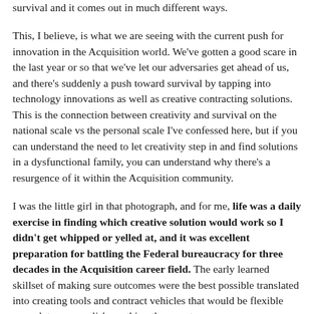survival and it comes out in much different ways.
This, I believe, is what we are seeing with the current push for innovation in the Acquisition world. We've gotten a good scare in the last year or so that we've let our adversaries get ahead of us, and there's suddenly a push toward survival by tapping into technology innovations as well as creative contracting solutions. This is the connection between creativity and survival on the national scale vs the personal scale I've confessed here, but if you can understand the need to let creativity step in and find solutions in a dysfunctional family, you can understand why there's a resurgence of it within the Acquisition community.
I was the little girl in that photograph, and for me, life was a daily exercise in finding which creative solution would work so I didn't get whipped or yelled at, and it was excellent preparation for battling the Federal bureaucracy for three decades in the Acquisition career field. The early learned skillset of making sure outcomes were the best possible translated into creating tools and contract vehicles that would be flexible enough to accomplish anything thrown at me.